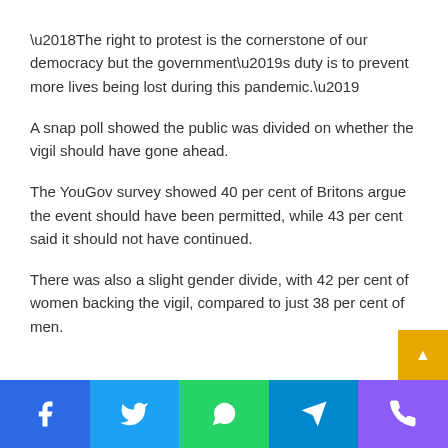‘The right to protest is the cornerstone of our democracy but the government’s duty is to prevent more lives being lost during this pandemic.’
A snap poll showed the public was divided on whether the vigil should have gone ahead.
The YouGov survey showed 40 per cent of Britons argue the event should have been permitted, while 43 per cent said it should not have continued.
There was also a slight gender divide, with 42 per cent of women backing the vigil, compared to just 38 per cent of men.
Social share buttons: Facebook, Twitter, WhatsApp, Telegram, Phone